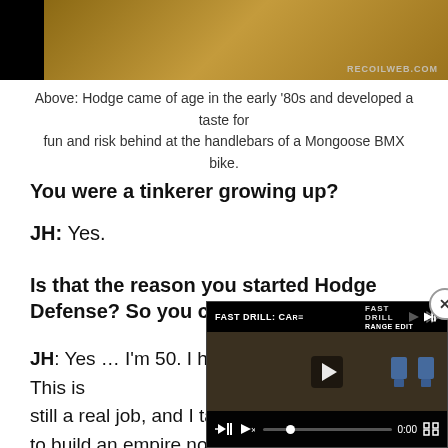[Figure (photo): Partial photograph of what appears to be a wooden surface or furniture piece, displayed in a dark banner strip with recoilweb.com watermark]
Above: Hodge came of age in the early '80s and developed a taste for fun and risk behind at the handlebars of a Mongoose BMX bike.
You were a tinkerer growing up?
JH: Yes.
Is that the reason you started Hodge Defense? So you could tinker more?
JH: Yes … I'm 50. I have had my real jobs. This is still a real job, and I take it to build an empire not in th is a gun company, but in th inherit one day or leave a a good dad, being a good
[Figure (screenshot): Video overlay widget showing 'FAST DRILL: CAR...' video with playback controls, mute icon, progress bar at 0:00, close button]